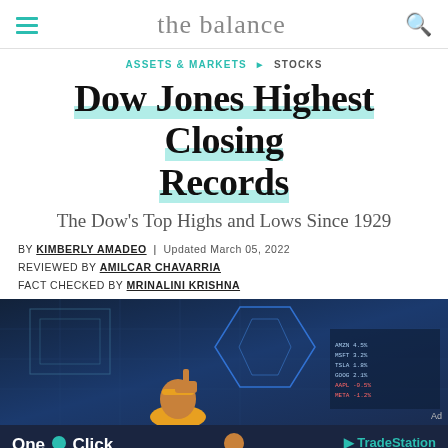the balance
ASSETS & MARKETS ▶ STOCKS
Dow Jones Highest Closing Records
The Dow's Top Highs and Lows Since 1929
BY KIMBERLY AMADEO | Updated March 05, 2022
REVIEWED BY AMILCAR CHAVARRIA
FACT CHECKED BY MRINALINI KRISHNA
[Figure (photo): Stock market trading screen with blue digital display panels and financial data, person in foreground]
[Figure (photo): Advertisement banner: One Click - Many Trading Possibilities! TradeStation - Learn More]